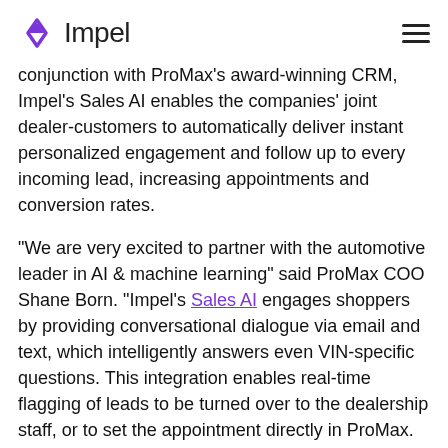Impel
conjunction with ProMax's award-winning CRM, Impel's Sales AI enables the companies' joint dealer-customers to automatically deliver instant personalized engagement and follow up to every incoming lead, increasing appointments and conversion rates.
"We are very excited to partner with the automotive leader in AI & machine learning" said ProMax COO Shane Born. "Impel's Sales AI engages shoppers by providing conversational dialogue via email and text, which intelligently answers even VIN-specific questions. This integration enables real-time flagging of leads to be turned over to the dealership staff, or to set the appointment directly in ProMax. As a longtime provider of BDC services we understand the challenges of both staffing and handling leads that come in after-hours. Sales AI is an excellent solution to